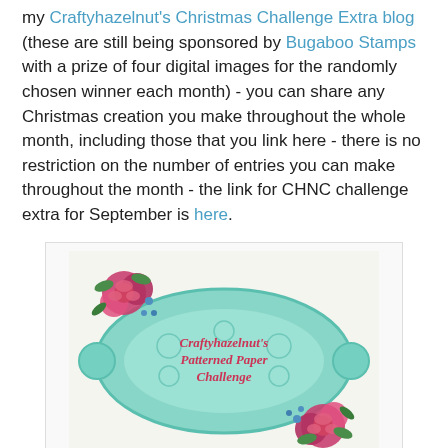my Craftyhazelnut's Christmas Challenge Extra blog (these are still being sponsored by Bugaboo Stamps with a prize of four digital images for the randomly chosen winner each month) - you can share any Christmas creation you make throughout the whole month, including those that you link here - there is no restriction on the number of entries you can make throughout the month - the link for CHNC challenge extra for September is here.
[Figure (logo): Craftyhazelnut's Patterned Paper Challenge badge — teal lace-style decorative frame with pink roses and the text 'Craftyhazelnut's Patterned Paper Challenge' in red/pink script on a light background]
I also run a challenge blog called Craftyhazelnut's Patterned Paper Challenge - anything goes as long as you use some patterned paper - with a randomly chosen prize winner every month. Please click on the link to find out more. If you have used patterned paper for your Christmas creation (if you